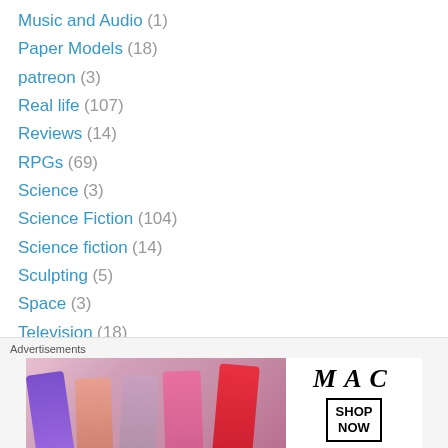Music and Audio (1)
Paper Models (18)
patreon (3)
Real life (107)
Reviews (14)
RPGs (69)
Science (3)
Science Fiction (104)
Science fiction (14)
Sculpting (5)
Space (3)
Television (18)
Terrain & Scenery (108)
The Oggam (67)
TV (37)
Uncategorized (23)
[Figure (advertisement): MAC Cosmetics advertisement showing lipsticks with SHOP NOW button]